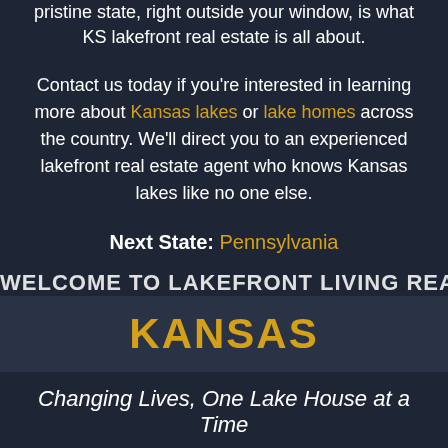pristine state, right outside your window, is what KS lakefront real estate is all about.
Contact us today if you're interested in learning more about Kansas lakes or lake homes across the country. We'll direct you to an experienced lakefront real estate agent who knows Kansas lakes like no one else.
Next State: Pennsylvania
WELCOME TO LAKEFRONT LIVING REALTY IN KANSAS
Changing Lives, One Lake House at a Time